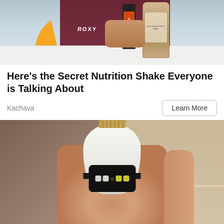[Figure (photo): A surfer in a Roxy wetsuit holding a Kachava nutrition shake bottle and another bottle, with a surfboard featuring an orange fin in the foreground]
Here's the Secret Nutrition Shake Everyone is Talking About
Kachava
Learn More
[Figure (photo): A hand holding a white smart light bulb security camera with a standard E27 screw base and LED camera lens at the bottom, with a wooden shelf/counter in the background]